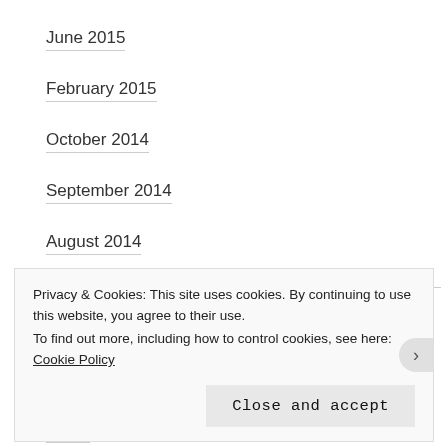June 2015
February 2015
October 2014
September 2014
August 2014
CATEGORIES
Film
Rants
Privacy & Cookies: This site uses cookies. By continuing to use this website, you agree to their use.
To find out more, including how to control cookies, see here: Cookie Policy
Close and accept